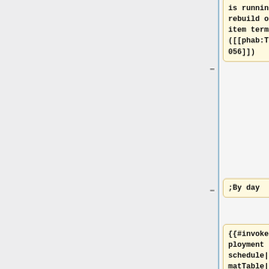is running rebuild of item terms ([[phab:T225056]])
;By day
{{#invoke:Deployment schedule|formatTable|hidedate=false|
{{#invoke:Deployment schedule|row
|when=2019-09-02 0:00 UTC